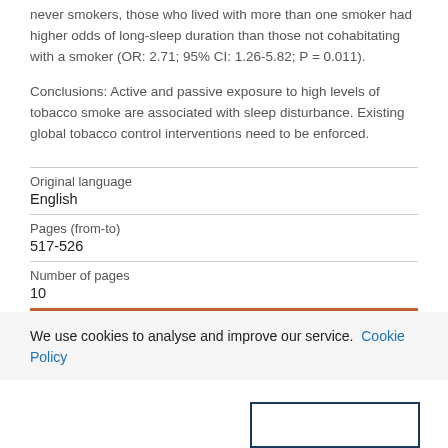never smokers, those who lived with more than one smoker had higher odds of long-sleep duration than those not cohabitating with a smoker (OR: 2.71; 95% CI: 1.26-5.82; P = 0.011).
Conclusions: Active and passive exposure to high levels of tobacco smoke are associated with sleep disturbance. Existing global tobacco control interventions need to be enforced.
| Original language | English |
| Pages (from-to) | 517-526 |
| Number of pages | 10 |
We use cookies to analyse and improve our service. Cookie Policy
[Figure (other): Partial view of a rectangular box outline at the bottom right of the page]